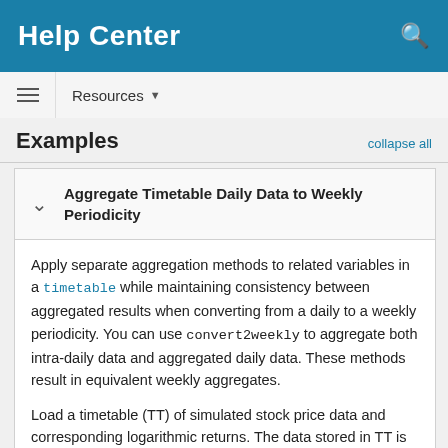Help Center
Resources
Examples
Aggregate Timetable Daily Data to Weekly Periodicity
Apply separate aggregation methods to related variables in a timetable while maintaining consistency between aggregated results when converting from a daily to a weekly periodicity. You can use convert2weekly to aggregate both intra-daily data and aggregated daily data. These methods result in equivalent weekly aggregates.
Load a timetable (TT) of simulated stock price data and corresponding logarithmic returns. The data stored in TT is recorded at various times throughout the day on New York Stock Exchange (NYSE) business days from January 1, 2018, to December 31,2020. The timetable TT also includes NYSE business calendar awareness. If your timetable does not account for nonbusiness days (weekends, holidays, and